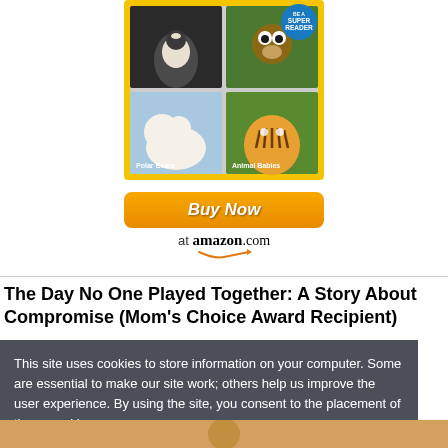[Figure (illustration): National Geographic Super Reader book cover showing animal photos including a penguin, monkey, polar bears, and tiger. Yellow border with 'Be a Super Reader' badge in blue.]
[Figure (illustration): Amazon 'Buy Now' orange button with 'at amazon.com' text and Amazon smile arrow logo below]
The Day No One Played Together: A Story About Compromise (Mom's Choice Award Recipient)
This site uses cookies to store information on your computer. Some are essential to make our site work; others help us improve the user experience. By using the site, you consent to the placement of these cookies.
Agree & Dismiss
[Figure (photo): Bottom partial image showing what appears to be a person]